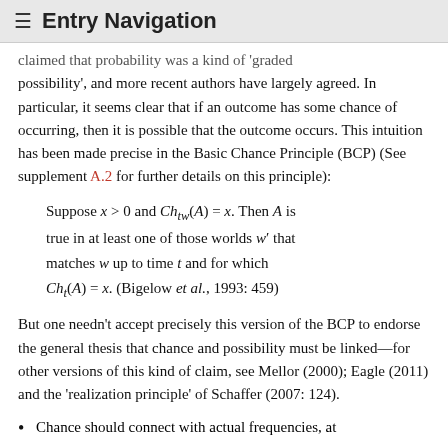≡ Entry Navigation
claimed that probability was a kind of 'graded possibility', and more recent authors have largely agreed. In particular, it seems clear that if an outcome has some chance of occurring, then it is possible that the outcome occurs. This intuition has been made precise in the Basic Chance Principle (BCP) (See supplement A.2 for further details on this principle):
But one needn't accept precisely this version of the BCP to endorse the general thesis that chance and possibility must be linked—for other versions of this kind of claim, see Mellor (2000); Eagle (2011) and the 'realization principle' of Schaffer (2007: 124).
Chance should connect with actual frequencies, at